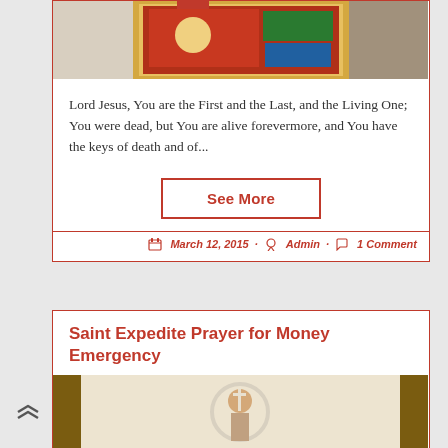[Figure (photo): Religious icon image with red, green, blue and gold colors, partially visible at top of card]
Lord Jesus, You are the First and the Last, and the Living One; You were dead, but You are alive forevermore, and You have the keys of death and of...
See More
March 12, 2015 · Admin · 1 Comment
Saint Expedite Prayer for Money Emergency
[Figure (photo): Saint Expedite image with cross, circular halo, brown frame borders]